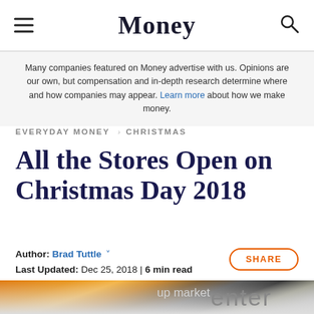Money
Many companies featured on Money advertise with us. Opinions are our own, but compensation and in-depth research determine where and how companies may appear. Learn more about how we make money.
EVERYDAY MONEY > CHRISTMAS
All the Stores Open on Christmas Day 2018
Author: Brad Tuttle  Last Updated: Dec 25, 2018 | 6 min read
[Figure (photo): Interior of a Macy's department store with orange signage and 'up market' text visible; large dark 'enter' sign in foreground]